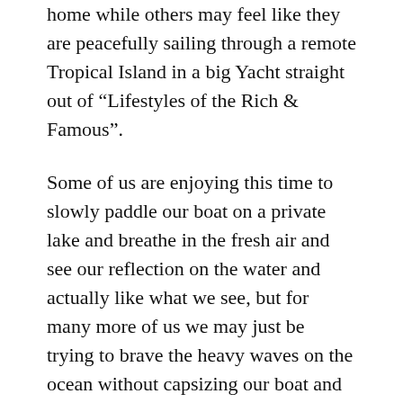home while others may feel like they are peacefully sailing through a remote Tropical Island in a big Yacht straight out of “Lifestyles of the Rich & Famous”.
Some of us are enjoying this time to slowly paddle our boat on a private lake and breathe in the fresh air and see our reflection on the water and actually like what we see, but for many more of us we may just be trying to brave the heavy waves on the ocean without capsizing our boat and praying we don’t fall into the shark pit below.
For many of us we are all alone in our boat, and the murky water surrounding us feels empty and the thing below us...